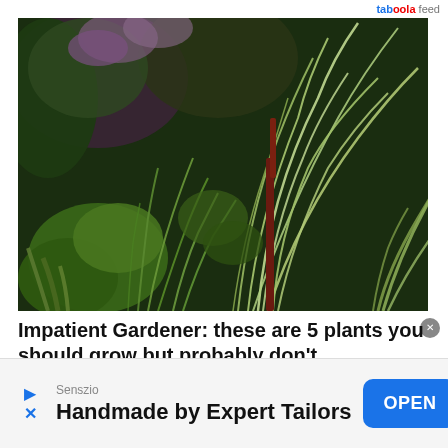taboola feed
[Figure (photo): A lush garden scene with ornamental grasses, green foliage, purple flowering plants, and a tall spiky grass plant as the focal point against a dark leafy background.]
Impatient Gardener: these are 5 plants you should grow but probably don't
Don't neglect these amazing plants in your garden, says Impatient Gardener Erin
Senszio
Handmade by Expert Tailors
OPEN